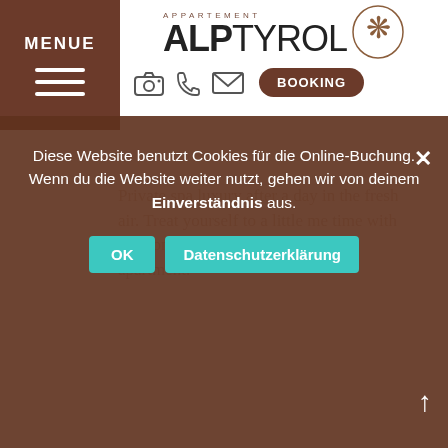[Figure (logo): ALPtyrol Appartement logo with decorative alpine crest icon, brown and dark text]
MENUE | [camera icon] [phone icon] [mail icon] | BOOKING
first coffee as soon as you get up? We completely understand that. Therefore, every apartment is equipped with a coffee machine. Both coffee pods and tea bags can be purchased at cost price.
Diese Website benutzt Cookies für die Online-Buchung. Wenn du die Website weiter nutzt, gehen wir von deinem Einverständnis aus.
Private spa luxury after a day in the fresh air. Treat yourself to a little me time with our complimentary toiletries in the apartment.